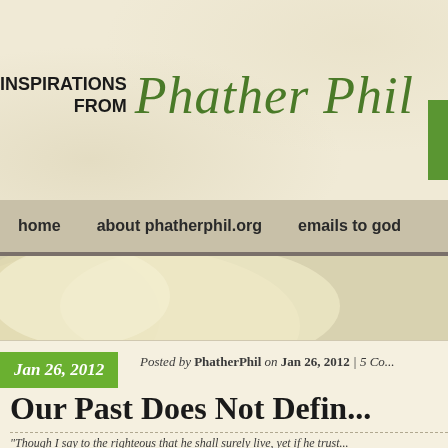INSPIRATIONS FROM Phather Phil
home   about phatherphil.org   emails to god
[Figure (photo): Soft cloudy/misty hero banner image with cream and olive tones]
Jan 26, 2012   Posted by PhatherPhil on Jan 26, 2012 | 5 Co...
Our Past Does Not Defin...
"Though I say to the righteous that he shall surely live, yet if he trust...